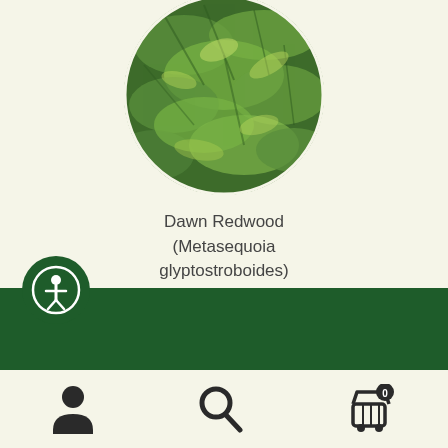[Figure (photo): Circular cropped photo of Dawn Redwood (Metasequoia glyptostroboides) foliage — green fern-like leaves viewed from above]
Dawn Redwood
(Metasequoia
glyptostroboides)
View products
[Figure (illustration): Dark green horizontal footer bar with circular accessibility icon (person in circle) on the left]
[Figure (illustration): Bottom navigation bar with person/account icon, search icon, and shopping cart icon with 0 badge]